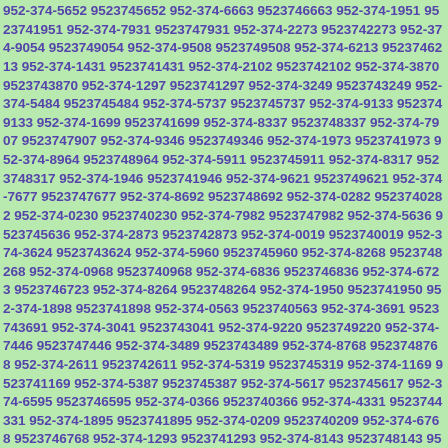952-374-5652 9523745652 952-374-6663 9523746663 952-374-1951 9523741951 952-374-7931 9523747931 952-374-2273 9523742273 952-374-9054 9523749054 952-374-9508 9523749508 952-374-6213 9523746213 952-374-1431 9523741431 952-374-2102 9523742102 952-374-3870 9523743870 952-374-1297 9523741297 952-374-3249 9523743249 952-374-5484 9523745484 952-374-5737 9523745737 952-374-9133 9523749133 952-374-1699 9523741699 952-374-8337 9523748337 952-374-7907 9523747907 952-374-9346 9523749346 952-374-1973 9523741973 952-374-8964 9523748964 952-374-5911 9523745911 952-374-8317 9523748317 952-374-1946 9523741946 952-374-9621 9523749621 952-374-7677 9523747677 952-374-8692 9523748692 952-374-0282 9523740282 952-374-0230 9523740230 952-374-7982 9523747982 952-374-5636 9523745636 952-374-2873 9523742873 952-374-0019 9523740019 952-374-3624 9523743624 952-374-5960 9523745960 952-374-8268 9523748268 952-374-0968 9523740968 952-374-6836 9523746836 952-374-6723 9523746723 952-374-8264 9523748264 952-374-1950 9523741950 952-374-1898 9523741898 952-374-0563 9523740563 952-374-3691 9523743691 952-374-3041 9523743041 952-374-9220 9523749220 952-374-7446 9523747446 952-374-3489 9523743489 952-374-8768 9523748768 952-374-2611 9523742611 952-374-5319 9523745319 952-374-1169 9523741169 952-374-5387 9523745387 952-374-5617 9523745617 952-374-6595 9523746595 952-374-0366 9523740366 952-374-4331 9523744331 952-374-1895 9523741895 952-374-0209 9523740209 952-374-6768 9523746768 952-374-1293 9523741293 952-374-8143 9523748143 952-374-2774 9523742774 952-374-2579 9523742579